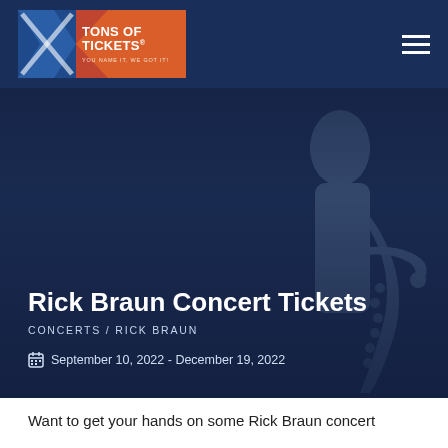[Figure (logo): Tons of Tickets logo with orange/blue X graphic and text 'TONS OF TICKETS® YOU NAME IT, WE GOT IT!']
Rick Braun Concert Tickets
CONCERTS /  RICK BRAUN
September 10, 2022 - December 19, 2022
Want to get your hands on some Rick Braun concert